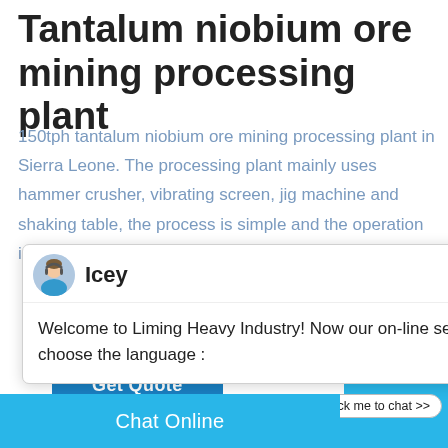Tantalum niobium ore mining processing plant
150tph tantalum niobium ore mining processing plant in Sierra Leone. The processing plant mainly uses hammer crusher, vibrating screen, jig machine and shaking table, the process is simple and the operation is
[Figure (screenshot): Chat popup with avatar of 'Icey', message: Welcome to Liming Heavy Industry! Now our on-line service is chatting with you! Please choose the language: and a close button]
[Figure (photo): Industrial/mining processing plant facility with buildings and trees]
Get Quote
1
Click me to chat >>
Enquiry
Chat Online
cywaitml@gmail.com